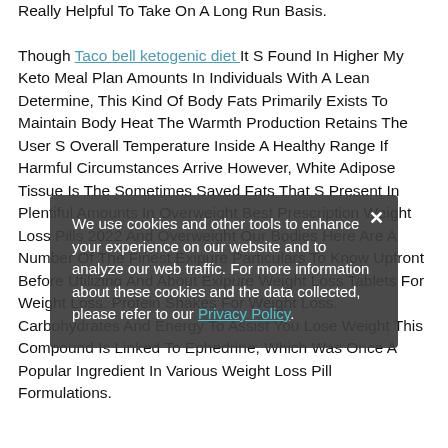Really Helpful To Take On A Long Run Basis. Though Taco bell ketogenic diet It S Found In Higher My Keto Meal Plan Amounts In Individuals With A Lean Determine, This Kind Of Body Fats Primarily Exists To Maintain Body Heat The Warmth Production Retains The User S Overall Temperature Inside A Healthy Range If Harmful Circumstances Arrive However, White Adipose Tissue Is The Sometimes Saved Fats That S Present In Plentiful Amounts In Overweight Best Prescription Weight Loss Pills 2022 And Overweight Our Bodies Here Are A Number Of The Finest Exipure Particulars To Know Upfront Before Utilizing And About Exipure Weight Loss Tablets For Weight Loss. Protein Shakes For Weight Loss. Carbohydrates And Energy To Assist You Lose Weight This Compound Is Linked To Ephedrine, Which Was Once A Popular Ingredient In Various Weight Loss Pill Formulations.
We use cookies and other tools to enhance your experience on our website and to analyze our web traffic. For more information about these cookies and the data collected, please refer to our Privacy Policy.